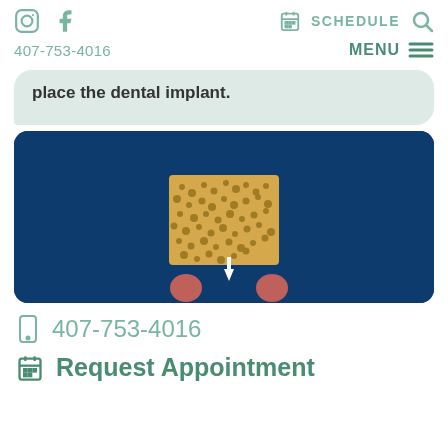407-753-4016   SCHEDULE   MENU
place the dental implant.
[Figure (illustration): Dark navy blue background illustration of a dental implant procedure showing a bone-like textured block with hands and a downward arrow indicator]
407-753-4016
Request Appointment